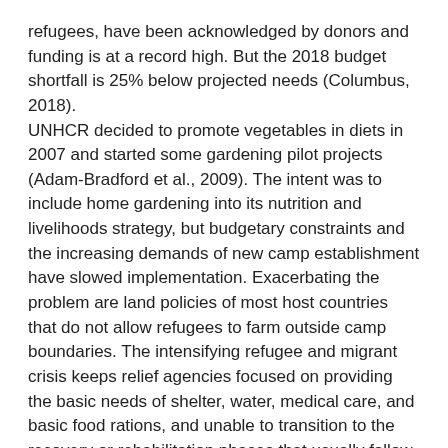refugees, have been acknowledged by donors and funding is at a record high. But the 2018 budget shortfall is 25% below projected needs (Columbus, 2018).
UNHCR decided to promote vegetables in diets in 2007 and started some gardening pilot projects (Adam-Bradford et al., 2009). The intent was to include home gardening into its nutrition and livelihoods strategy, but budgetary constraints and the increasing demands of new camp establishment have slowed implementation. Exacerbating the problem are land policies of most host countries that do not allow refugees to farm outside camp boundaries. The intensifying refugee and migrant crisis keeps relief agencies focused on providing the basic needs of shelter, water, medical care, and basic food rations, and unable to transition to the recovery or rehabilitation phases that usually follow disasters such as earthquakes or tsunamis. More permanent construction for housing and clinics needed for prolonged crises are being delayed as well.
Signs of Hope